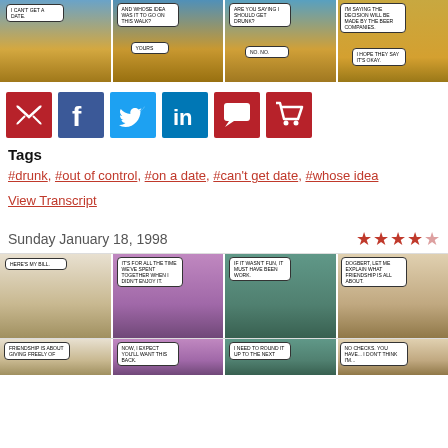[Figure (illustration): Four-panel Dilbert comic strip. Panel 1: character says 'I CAN'T GET A DATE.' Panel 2: character says 'AND WHOSE IDEA WAS IT TO GO ON THIS WALK?' response 'YOURS'. Panel 3: character says 'ARE YOU SAYING I SHOULD GET DRUNK?' response 'NO. NO.' Panel 4: character says 'I'M SAYING THE DECISION WILL BE MADE BY THE BEER COMPANIES.' response 'I HOPE THEY SAY IT'S OKAY.']
[Figure (infographic): Social sharing buttons row: email (red), Facebook (dark blue), Twitter (light blue), LinkedIn (blue), comment (dark red), shopping cart (dark red)]
Tags
#drunk, #out of control, #on a date, #can't get date, #whose idea
View Transcript
Sunday January 18, 1998
[Figure (illustration): Star rating: 4 out of 5 stars (4 filled red stars and 1 half/empty star)]
[Figure (illustration): Second Dilbert comic strip (2 rows of 4 panels). Top row: Panel 1 - character says 'HERE'S MY BILL.' Panel 2 - 'IT'S FOR ALL THE TIME WE'VE SPENT TOGETHER WHEN I DIDN'T ENJOY IT.' Panel 3 - 'IF IT WASN'T FUN, IT MUST HAVE BEEN WORK.' Panel 4 - 'DOGBERT, LET ME EXPLAIN WHAT FRIENDSHIP IS ALL ABOUT.' Bottom row: Panel 1 - 'FRIENDSHIP IS ABOUT GIVING FREELY OF...' Panel 2 - 'NOW, I EXPECT YOU'LL WANT THIS BACK.' Panel 3 - 'I NEED TO ROUND IT UP TO THE NEXT...' Panel 4 - 'NO CHECKS. YOU HAVE... I DON'T THINK I'M...']